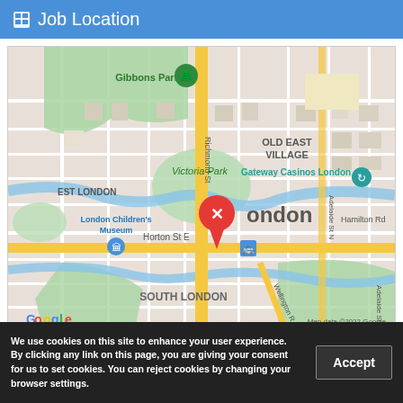Job Location
[Figure (map): Google Maps view of London, Ontario, Canada showing downtown area with landmarks including Gibbons Park, Victoria Park, London Children's Museum, Gateway Casinos London, and a red map pin marking the job location. Areas visible include West London, Old East Village, South London. Streets include Richmond St, Horton St E, Adelaide St N, Hamilton Rd, Wellington Rd, Adelaide St. Map data ©2022 Google.]
We use cookies on this site to enhance your user experience. By clicking any link on this page, you are giving your consent for us to set cookies. You can reject cookies by changing your browser settings.